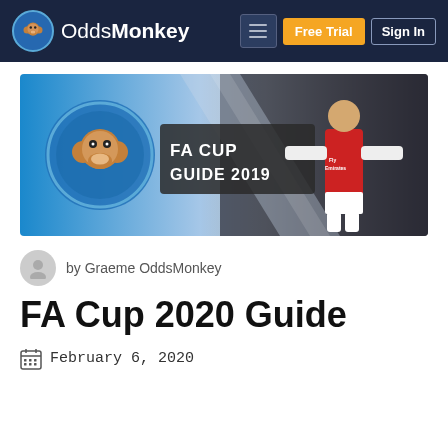OddsMonkey — Free Trial | Sign In
[Figure (illustration): FA Cup Guide 2019 banner image showing OddsMonkey logo/monkey icon with text 'FA CUP GUIDE 2019' on a blue/grey graphic background with an Arsenal football player in a red kit on the right side]
by Graeme OddsMonkey
FA Cup 2020 Guide
February 6, 2020